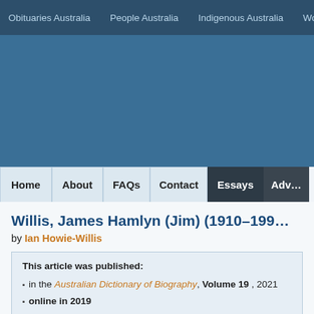Obituaries Australia  People Australia  Indigenous Australia  Wo…
[Figure (other): Blue banner/header image area for the Australian Dictionary of Biography website]
Home  About  FAQs  Contact  Essays  Adv…
Willis, James Hamlyn (Jim) (1910–199…
by Ian Howie-Willis
This article was published:
in the Australian Dictionary of Biography, Volume 19 , 2021
online in 2019